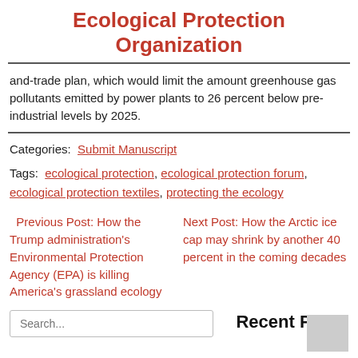Ecological Protection Organization
and-trade plan, which would limit the amount greenhouse gas pollutants emitted by power plants to 26 percent below pre-industrial levels by 2025.
Categories: Submit Manuscript
Tags: ecological protection, ecological protection forum, ecological protection textiles, protecting the ecology
Previous Post: How the Trump administration's Environmental Protection Agency (EPA) is killing America's grassland ecology
Next Post: How the Arctic ice cap may shrink by another 40 percent in the coming decades
Search...
Recent Posts